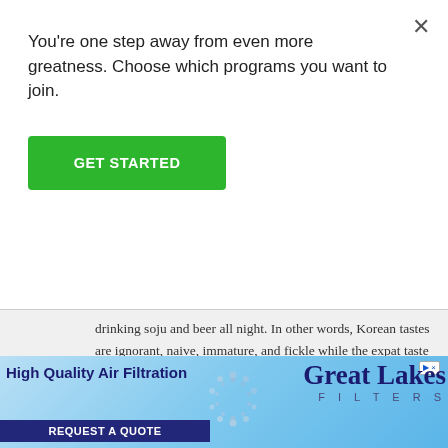You're one step away from even more greatness. Choose which programs you want to join.
GET STARTED
drinking soju and beer all night. In other words, Korean tastes are ignorant, naive, immature, and fickle while the expat taste is just much more complex and is longing for the taste of home. It’s so patronizing and bigoted, certainly, but on top of it, let’s just get something precise: Americans line up for over-priced food in every city. New York,
[Figure (screenshot): Advertisement banner for Great Lakes Filters showing 'High Quality Air Filtration' with a REQUEST A QUOTE button, circular dot logo, and company name on a blue gradient background]